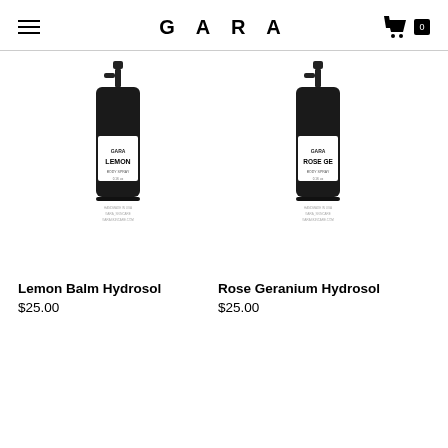GARA
[Figure (photo): Dark spray bottle with GARA branding and LEMON label]
Lemon Balm Hydrosol
$25.00
[Figure (photo): Dark spray bottle with GARA branding and ROSE GE label]
Rose Geranium Hydrosol
$25.00